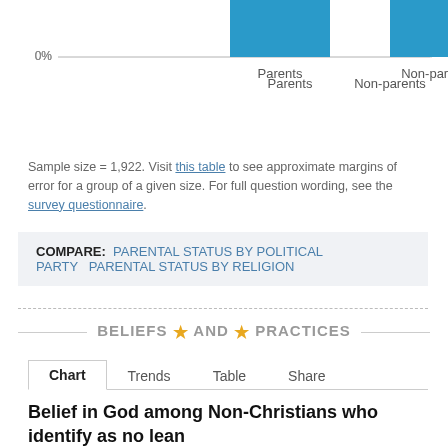[Figure (bar-chart): Partial bar chart showing bars for Parents and Non-parents categories, cropped at top of page with 0% axis label visible]
Sample size = 1,922. Visit this table to see approximate margins of error for a group of a given size. For full question wording, see the survey questionnaire.
COMPARE: PARENTAL STATUS BY POLITICAL PARTY   PARENTAL STATUS BY RELIGION
BELIEFS ★ AND ★ PRACTICES
Belief in God among Non-Christians who identify as no lean